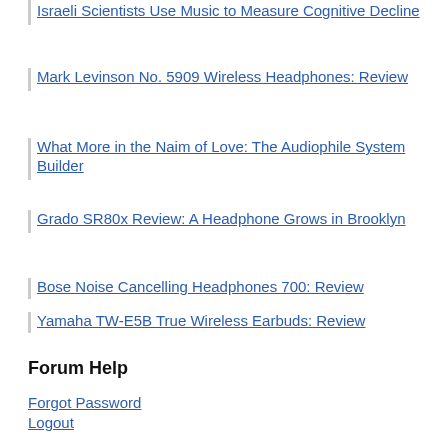Israeli Scientists Use Music to Measure Cognitive Decline
Mark Levinson No. 5909 Wireless Headphones: Review
What More in the Naim of Love: The Audiophile System Builder
Grado SR80x Review: A Headphone Grows in Brooklyn
Bose Noise Cancelling Headphones 700: Review
Yamaha TW-E5B True Wireless Earbuds: Review
Forum Help
Forgot Password
Logout
Register
Rules
Shortcodes
Troubleshooting
Announcements
Your Account